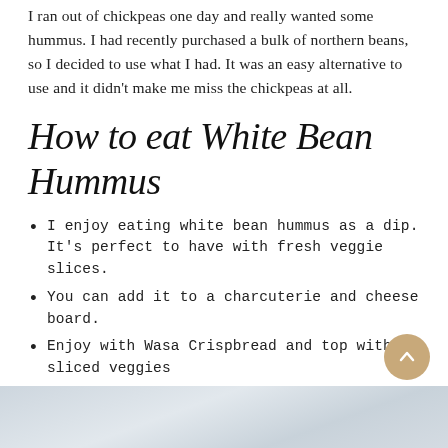I ran out of chickpeas one day and really wanted some hummus. I had recently purchased a bulk of northern beans, so I decided to use what I had. It was an easy alternative to use and it didn't make me miss the chickpeas at all.
How to eat White Bean Hummus
I enjoy eating white bean hummus as a dip. It's perfect to have with fresh veggie slices.
You can add it to a charcuterie and cheese board.
Enjoy with Wasa Crispbread and top with sliced veggies
Dive in with a large spoon, and eat as is
[Figure (photo): Bottom edge of a marble or stone surface, light gray-blue tones, partially visible at bottom of page.]